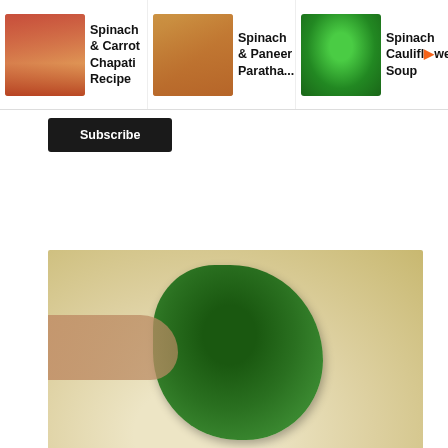[Figure (screenshot): Navigation bar showing three recipe thumbnails: 'Spinach & Carrot Chapati Recipe', 'Spinach & Paneer Paratha...', 'Spinach Cauliflower Soup' with a partially visible right arrow]
Subscribe
[Figure (photo): Step 6 of recipe: Green spinach puree being poured onto wheat flour in a yellow bowl, with a hand holding a spoon]
6)mix well
[Figure (photo): Another step photo showing flour and spinach mixture in a yellow/orange bowl from above]
X
Lower Fees = More Crypto
CoinFlip Bitcoin ATM